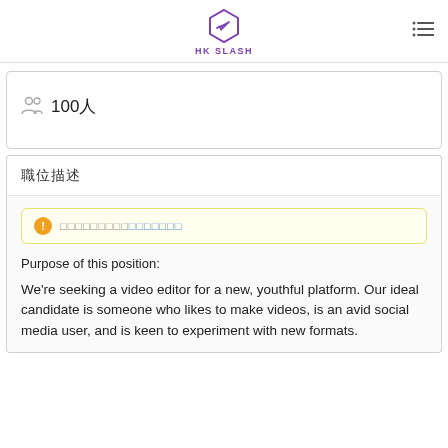HK SLASH
100人
職位描述
（通知文字）需要完成個人資料
Purpose of this position:
We're seeking a video editor for a new, youthful platform. Our ideal candidate is someone who likes to make videos, is an avid social media user, and is keen to experiment with new formats.